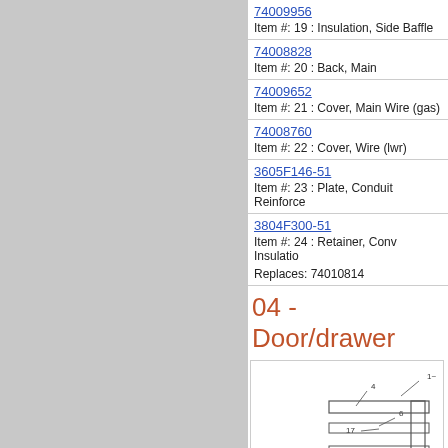| Part Number | Description |
| --- | --- |
| 74009956 | Item #: 19 : Insulation, Side Baffle |
| 74008828 | Item #: 20 : Back, Main |
| 74009652 | Item #: 21 : Cover, Main Wire (gas) |
| 74008760 | Item #: 22 : Cover, Wire (lwr) |
| 3605F146-51 | Item #: 23 : Plate, Conduit Reinforce |
| 3804F300-51 | Item #: 24 : Retainer, Conv Insulation
Replaces: 74010814 |
04 - Door/drawer
[Figure (engineering-diagram): Exploded engineering diagram of Door/drawer assembly showing numbered parts 4, 6, 7, 11, 17 and others with callout lines]